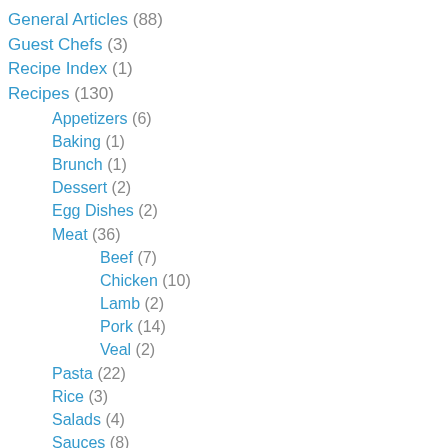General Articles (88)
Guest Chefs (3)
Recipe Index (1)
Recipes (130)
Appetizers (6)
Baking (1)
Brunch (1)
Dessert (2)
Egg Dishes (2)
Meat (36)
Beef (7)
Chicken (10)
Lamb (2)
Pork (14)
Veal (2)
Pasta (22)
Rice (3)
Salads (4)
Sauces (8)
Seafood (30)